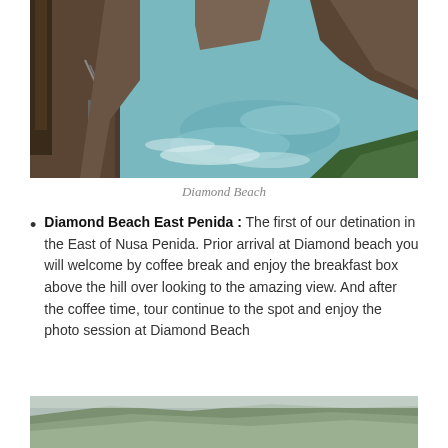[Figure (photo): Coastal cliff scene with turquoise ocean water, rocky formations, rope/chain handrail on left cliff, tropical vegetation visible at bottom right — Diamond Beach, Nusa Penida, Bali]
Diamond Beach
Diamond Beach East Penida : The first of our detination in the East of Nusa Penida. Prior arrival at Diamond beach you will welcome by coffee break and enjoy the breakfast box above the hill over looking to the amazing view. And after the coffee time, tour continue to the spot and enjoy the photo session at Diamond Beach
[Figure (photo): Bottom portion of a landscape photo showing green hilly terrain, partially cut off at page bottom]